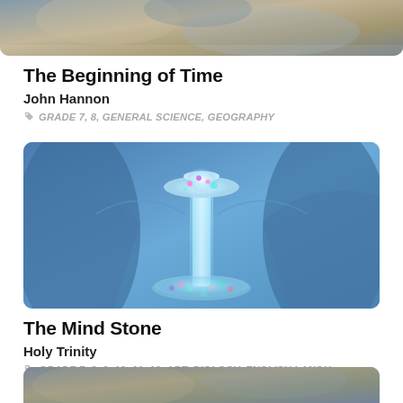[Figure (photo): Top portion of a photo showing people or a scene, partially cropped at top]
The Beginning of Time
John Hannon
GRADE 7, 8, GENERAL SCIENCE, GEOGRAPHY
[Figure (photo): Sci-fi or fantasy glowing column/pillar with colorful particles, blue tones, cylindrical device]
The Mind Stone
Holy Trinity
GRADE 7, 8, 9, 10, 11, 12, ART, BIOLOGY, ENGLISH LANGU...
[Figure (photo): Bottom strip of another photo, partially visible]